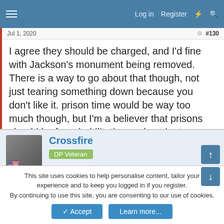Log in  Register
Jul 1, 2020  #130
I agree they should be charged, and I'd fine with Jackson's monument being removed. There is a way to go about that though, not just tearing something down because you don't like it. prison time would be way too much though, but I'm a believer that prisons should be for rehabilitation and not just punishment.
Crossfire
DP Veteran
Jul 1, 2020  #131
coyotedelmar said: ↑
I agree they should be charged, and I'd fine with Jackson's monument being removed. There is a way to go about that though, not just tearing
This site uses cookies to help personalise content, tailor your experience and to keep you logged in if you register.
By continuing to use this site, you are consenting to our use of cookies.